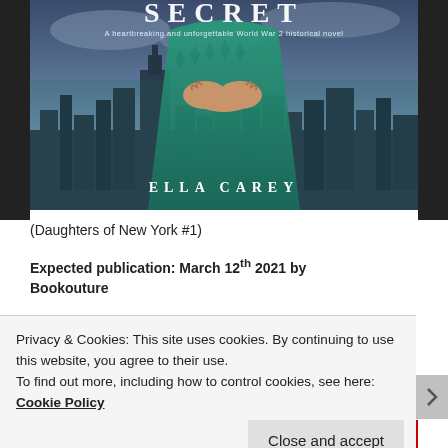[Figure (illustration): Book cover for a novel titled 'Secret' by Ella Carey. Subtitle reads 'A heartbreaking and unforgettable World War 2 historical novel'. Cover shows a woman in a green dress with clasped hands, set against a dark city skyline backdrop.]
(Daughters of New York #1)
Expected publication: March 12th 2021 by Bookouture
Privacy & Cookies: This site uses cookies. By continuing to use this website, you agree to their use.
To find out more, including how to control cookies, see here: Cookie Policy